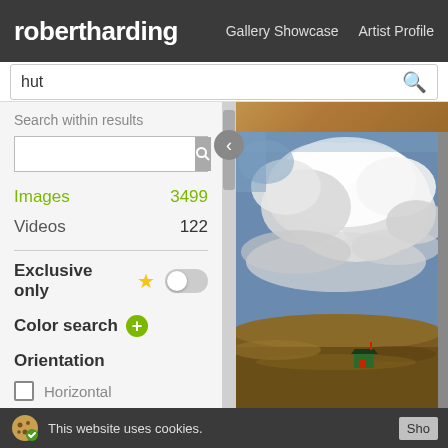robertharding | Gallery Showcase | Artist Profile
hut
Search within results
Images 3499
Videos 122
Exclusive only
Color search
Orientation
Horizontal
Vertical
Panoramic
[Figure (photo): A small green and red hut sitting on a moorland hillside under a dramatic cloudy sky]
This website uses cookies.